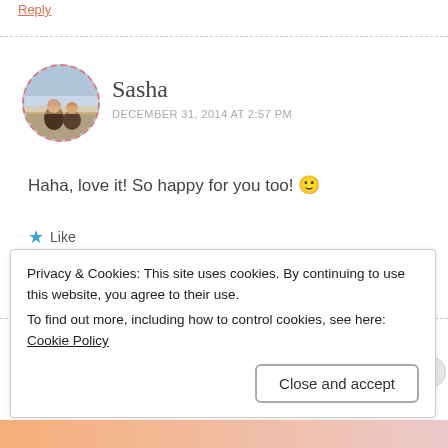Reply
[Figure (photo): Circular avatar photo of a person with dashed red border]
Sasha
DECEMBER 31, 2014 AT 2:57 PM
Haha, love it! So happy for you too! 🙂
★ Like
Reply
Privacy & Cookies: This site uses cookies. By continuing to use this website, you agree to their use.
To find out more, including how to control cookies, see here: Cookie Policy
Close and accept